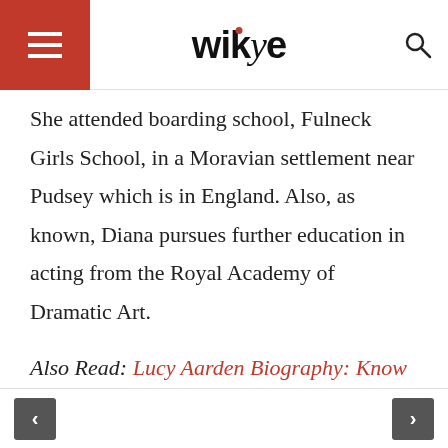wikye
She attended boarding school, Fulneck Girls School, in a Moravian settlement near Pudsey which is in England. Also, as known, Diana pursues further education in acting from the Royal Academy of Dramatic Art.
Also Read: Lucy Aarden Biography: Know About The Life Of Death Race: Beyond Anarchy Actress
< >